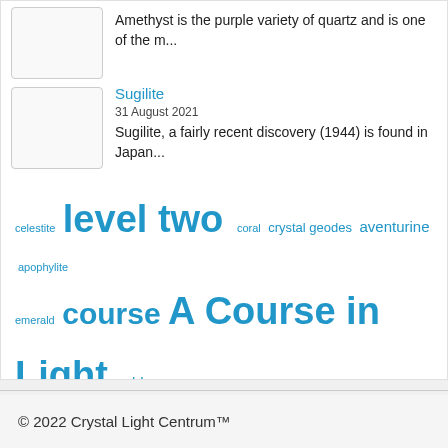Amethyst is the purple variety of quartz and is one of the m...
Sugilite
31 August 2021
Sugilite, a fairly recent discovery (1944) is found in Japan...
[Figure (infographic): Tag cloud with crystal/mineral related terms in various sizes and shades of blue: celestite, level two (large), coral, crystal geodes, aventurine, apophylite, emerald, course, A Course in Light (large), gold, citrine, white, agate, ametrine, calcite, light (large), Amethyst, aquamarine, amber]
© 2022 Crystal Light Centrum™